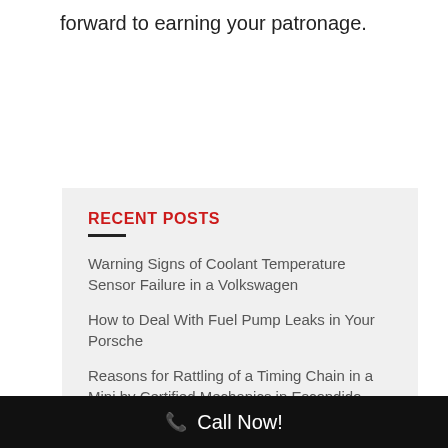forward to earning your patronage.
RECENT POSTS
Warning Signs of Coolant Temperature Sensor Failure in a Volkswagen
How to Deal With Fuel Pump Leaks in Your Porsche
Reasons for Rattling of a Timing Chain in a Mini by Certified Mechanics in Escondido
The Best Repair Shop in Escondido to Fix a
Call Now!